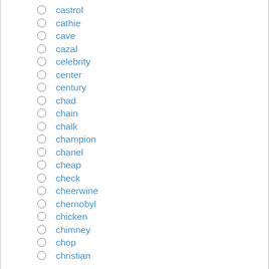castrol
cathie
cave
cazal
celebrity
center
century
chad
chain
chalk
champion
chanel
cheap
check
cheerwine
chernobyl
chicken
chimney
chop
christian